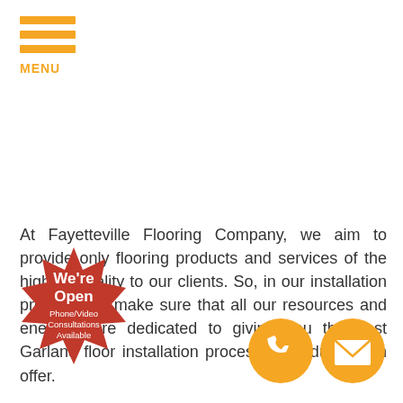MENU
At Fayetteville Flooring Company, we aim to provide only flooring products and services of the highest quality to our clients. So, in our installation process, we make sure that all our resources and energies are dedicated to giving you the best Garland floor installation process the industry can offer.
We begin our process with a conversation. We invite our clients to engage in a close-up consultation session with our floor installation experts to discuss the project. We take you in your goals, preferences, budget, location, schedule, and other relevant factors to the installation.
[Figure (infographic): Red starburst badge with text 'We're Open Phone/Video Consultations Available']
[Figure (infographic): Orange circle phone icon]
[Figure (infographic): Orange circle mail/envelope icon]